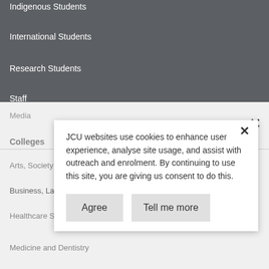Indigenous Students
International Students
Research Students
Staff
Media
Colleges
Arts, Society and Education
Business, Law and Governance
Healthcare Sciences
Medicine and Dentistry
JCU websites use cookies to enhance user experience, analyse site usage, and assist with outreach and enrolment. By continuing to use this site, you are giving us consent to do this.